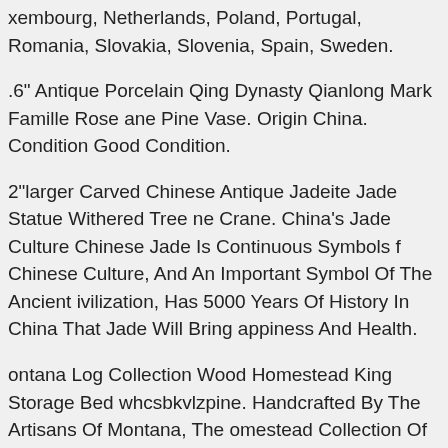…xembourg, Netherlands, Poland, Portugal, Romania, Slovakia, Slovenia, Spain, Sweden.
…6" Antique Porcelain Qing Dynasty Qianlong Mark Famille Rose …ane Pine Vase. Origin China. Condition Good Condition.
…2"larger Carved Chinese Antique Jadeite Jade Statue Withered Tree …ne Crane. China's Jade Culture Chinese Jade Is Continuous Symbols …f Chinese Culture, And An Important Symbol Of The Ancient …ivilization, Has 5000 Years Of History In China That Jade Will Bring …appiness And Health.
…ontana Log Collection Wood Homestead King Storage Bed …whcsbkvlzpine. Handcrafted By The Artisans Of Montana, The …omestead Collection Of Fine Rustic Furniture Features Timbers And …im Pieces Similar Reminiscent Of A Timber Framed Home On The …merican Frontier. Made In Montana, Usa With Solid, American Grown …ood.featuresrustic Themed, Laser Engraved Pine Tree Motifhand …rafted In Montana Usa Solid, Us Grown Genuine Lodge Pole Pine …oodtimbers And Trim Pieces Are Sawn Square For Rustic Timber